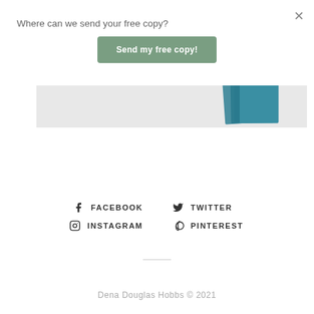Where can we send your free copy?
Send my free copy!
[Figure (photo): Partial view of a teal/blue book cover on a gray background]
FACEBOOK
TWITTER
INSTAGRAM
PINTEREST
Dena Douglas Hobbs © 2021